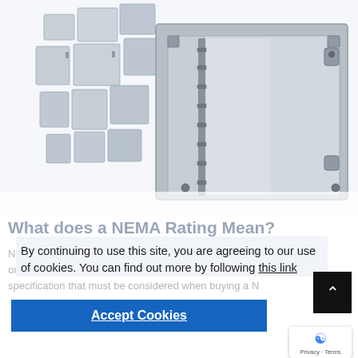[Figure (photo): Product photo showing multiple metallic NEMA-rated electrical enclosures/boxes in various sizes arranged in a collage, with a large stainless steel enclosure with open door in the foreground on the right.]
What does a NEMA Rating Mean?
By continuing to use this site, you are agreeing to our use of cookies. You can find out more by following this link
Accept Cookies
NEMA rating is one of those standards that is at times misunderstood or even ignored. However, it is an important specification that must be considered when buying a NEMA rated product to ensure the safety of personnel and